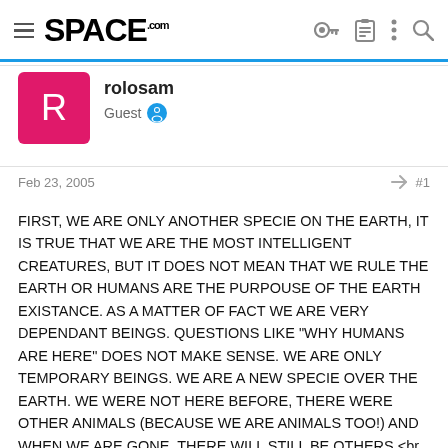SPACE.com
rolosam
Guest
Feb 23, 2005   #1
FIRST, WE ARE ONLY ANOTHER SPECIE ON THE EARTH, IT IS TRUE THAT WE ARE THE MOST INTELLIGENT CREATURES, BUT IT DOES NOT MEAN THAT WE RULE THE EARTH OR HUMANS ARE THE PURPOUSE OF THE EARTH EXISTANCE. AS A MATTER OF FACT WE ARE VERY DEPENDANT BEINGS. QUESTIONS LIKE "WHY HUMANS ARE HERE" DOES NOT MAKE SENSE. WE ARE ONLY TEMPORARY BEINGS. WE ARE A NEW SPECIE OVER THE EARTH. WE WERE NOT HERE BEFORE, THERE WERE OTHER ANIMALS (BECAUSE WE ARE ANIMALS TOO!) AND WHEN WE ARE GONE, THERE WILL STILL BE OTHERS.<br />PERHAPS, IS NOT THAT THE UNIVERSE IS SO BIG, WE ARE THE ONES THAT ARE